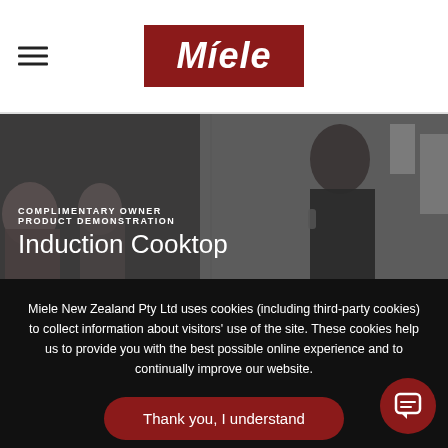Miele
[Figure (photo): Person giving a demonstration at a Miele event, with audience watching. Text overlay reads: COMPLIMENTARY OWNER PRODUCT DEMONSTRATION - Induction Cooktop]
Miele New Zealand Pty Ltd uses cookies (including third-party cookies) to collect information about visitors' use of the site. These cookies help us to provide you with the best possible online experience and to continually improve our website.
Thank you, I understand
Learn more